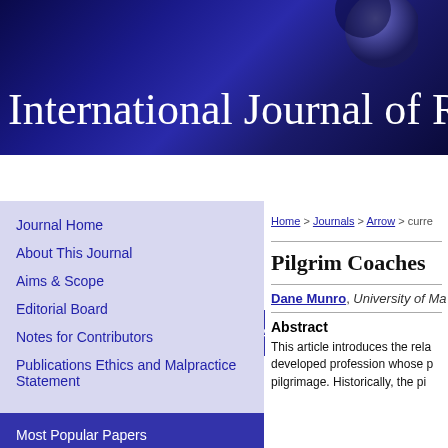International Journal of Re
Home   About   FAQ   My Account
Journal Home
About This Journal
Aims & Scope
Editorial Board
Notes for Contributors
Publications Ethics and Malpractice Statement
Submit Article
Most Popular Papers
Home > Journals > Arrow > curre
Pilgrim Coaches
Dane Munro, University of Ma
Abstract
This article introduces the rela developed profession whose p pilgrimage. Historically, the pi